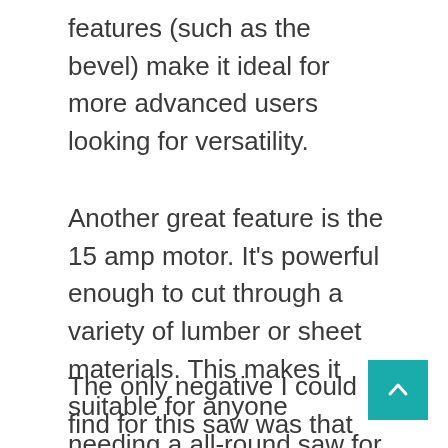features (such as the bevel) make it ideal for more advanced users looking for versatility.
Another great feature is the 15 amp motor. It's powerful enough to cut through a variety of lumber or sheet materials. This makes it suitable for anyone needing a all-round saw for a range of jobs.
The only negative I could find for this saw was that the laser can move out of position occasionally because of vibrations. You easily correct this by adjusting it with a allen key, but just make sure you check